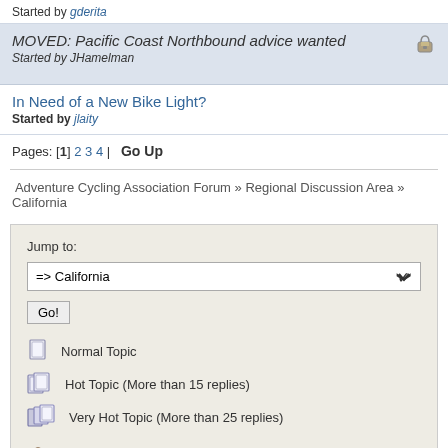Started by gderita
MOVED: Pacific Coast Northbound advice wanted
Started by JHamelman
In Need of a New Bike Light?
Started by jlaity
Pages: [1] 2 3 4 | Go Up
Adventure Cycling Association Forum » Regional Discussion Area » California
Jump to:
=> California
Go!
Normal Topic
Hot Topic (More than 15 replies)
Very Hot Topic (More than 25 replies)
Locked Topic
Sticky Topic
Poll